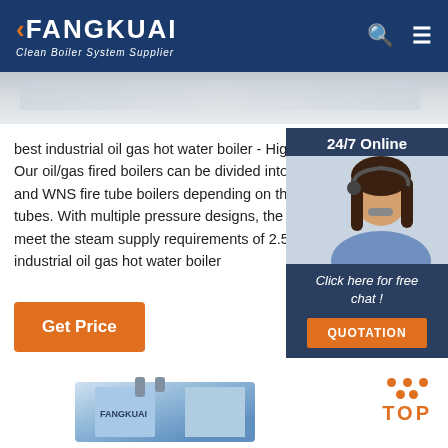FANGKUAI - Clean Boiler System Supplier
[Figure (photo): Hero banner image with light gray marble/stone texture]
best industrial oil gas hot water boiler - High Eff Our oil/gas fired boilers can be divided into SZS and WNS fire tube boilers depending on the me tubes. With multiple pressure designs, the wate meet the steam supply requirements of 2.5MPa industrial oil gas hot water boiler
[Figure (photo): 24/7 Online chat widget showing a customer service representative woman wearing a headset, with 'Click here for free chat!' and QUOTATION button]
[Figure (photo): Industrial boiler product image at bottom of page]
[Figure (other): TOP scroll-to-top button with orange dots arranged in triangle and TOP text]